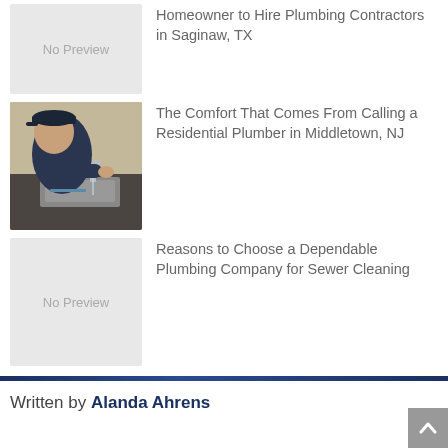No Preview
Homeowner to Hire Plumbing Contractors in Saginaw, TX
[Figure (photo): Plumber working at a kitchen sink with running water]
The Comfort That Comes From Calling a Residential Plumber in Middletown, NJ
No Preview
Reasons to Choose a Dependable Plumbing Company for Sewer Cleaning
Written by Alanda Ahrens